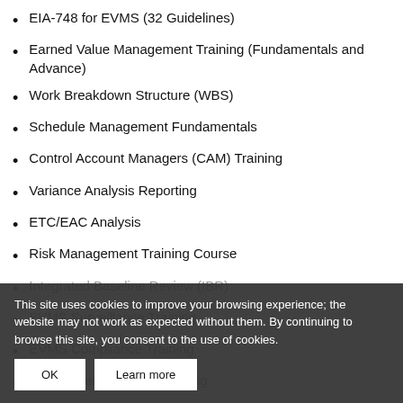EIA-748 for EVMS (32 Guidelines)
Earned Value Management Training (Fundamentals and Advance)
Work Breakdown Structure (WBS)
Schedule Management Fundamentals
Control Account Managers (CAM) Training
Variance Analysis Reporting
ETC/EAC Analysis
Risk Management Training Course
Integrated Baseline Review (IBR)
EVMS Surveillance Training
EVMS Compliance Training
Government EVMS Reporting
This site uses cookies to improve your browsing experience; the website may not work as expected without them. By continuing to browse this site, you consent to the use of cookies.